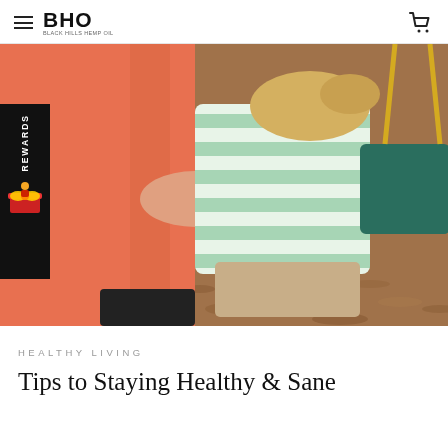BHO
[Figure (photo): An adult in a salmon/coral jacket pushing a young child on a green swing, viewed from behind. The child wears a green and white striped shirt. Playground wood chips visible on the ground.]
HEALTHY LIVING
Tips to Staying Healthy & Sane